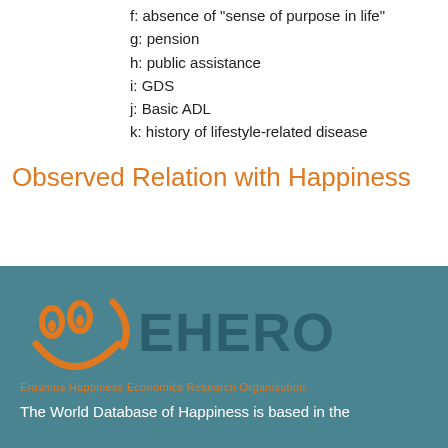f: absence of "sense of purpose in life"
g: pension
h: public assistance
i: GDS
j: Basic ADL
k: history of lifestyle-related disease
Observed Relation with Happiness
[Figure (logo): EHERO smiley face logo with orange smile and eyes on teal background, with text 'EHERO' and 'Erasmus Happiness Economics Research Organisation']
The World Database of Happiness is based in the